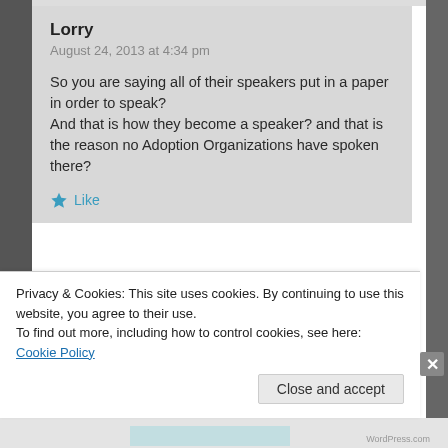Lorry
August 24, 2013 at 4:34 pm

So you are saying all of their speakers put in a paper in order to speak?
And that is how they become a speaker? and that is the reason no Adoption Organizations have spoken there?

★ Like
Patricia Sund
Privacy & Cookies: This site uses cookies. By continuing to use this website, you agree to their use.
To find out more, including how to control cookies, see here: Cookie Policy

Close and accept